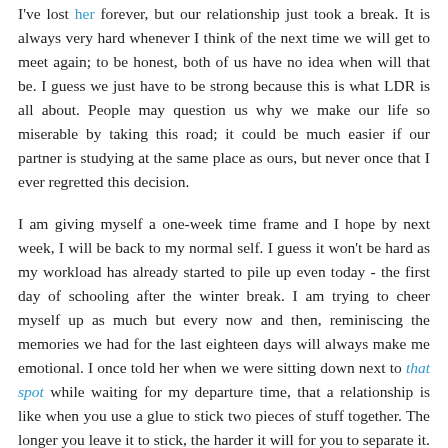I've lost her forever, but our relationship just took a break. It is always very hard whenever I think of the next time we will get to meet again; to be honest, both of us have no idea when will that be. I guess we just have to be strong because this is what LDR is all about. People may question us why we make our life so miserable by taking this road; it could be much easier if our partner is studying at the same place as ours, but never once that I ever regretted this decision.
I am giving myself a one-week time frame and I hope by next week, I will be back to my normal self. I guess it won't be hard as my workload has already started to pile up even today - the first day of schooling after the winter break. I am trying to cheer myself up as much but every now and then, reminiscing the memories we had for the last eighteen days will always make me emotional. I once told her when we were sitting down next to that spot while waiting for my departure time, that a relationship is like when you use a glue to stick two pieces of stuff together. The longer you leave it to stick, the harder it will for you to separate it. That is why this time, it is so much harder for us compared to last year.